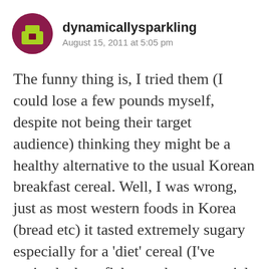dynamicallysparkling
August 15, 2011 at 5:05 pm
The funny thing is, I tried them (I could lose a few pounds myself, despite not being their target audience) thinking they might be a healthy alternative to the usual Korean breakfast cereal. Well, I was wrong, just as most western foods in Korea (bread etc) it tasted extremely sugary especially for a ‘diet’ cereal (I’ve noticed wheat flakes and even special K are much more sugary here too). Sure the whole grains could help (especially in their target audience’s diet) but a